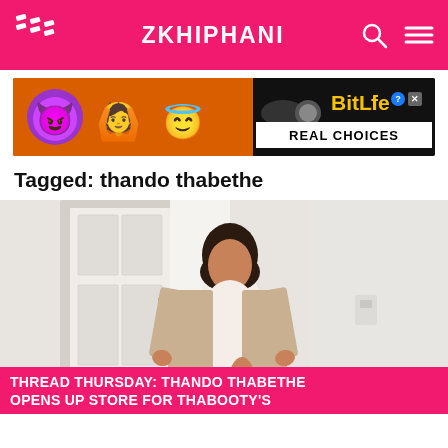ZKHIPHANI
[Figure (photo): BitLife REAL CHOICES advertisement banner with emoji characters on orange background]
Tagged: thando thabethe
[Figure (photo): Thando Thabethe posing in a white bodysuit and beige duster coat in a white interior setting]
THREAD THURSDAY: THANDO THABETHE OPENS UP STORE FOR THABOOTY'S